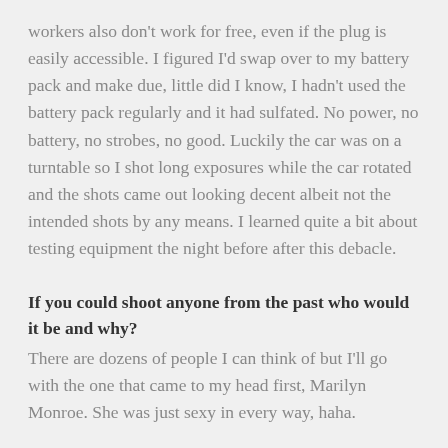workers also don't work for free, even if the plug is easily accessible. I figured I'd swap over to my battery pack and make due, little did I know, I hadn't used the battery pack regularly and it had sulfated. No power, no battery, no strobes, no good. Luckily the car was on a turntable so I shot long exposures while the car rotated and the shots came out looking decent albeit not the intended shots by any means. I learned quite a bit about testing equipment the night before after this debacle.
If you could shoot anyone from the past who would it be and why?
There are dozens of people I can think of but I'll go with the one that came to my head first, Marilyn Monroe. She was just sexy in every way, haha.